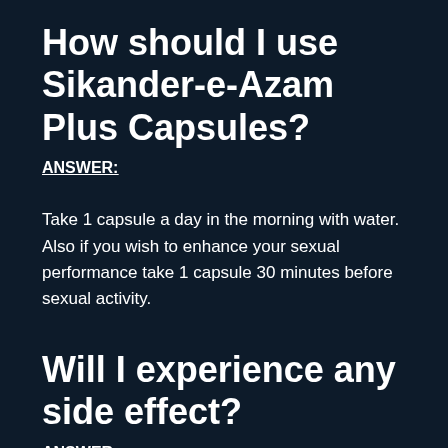How should I use Sikander-e-Azam Plus Capsules?
ANSWER:
Take 1 capsule a day in the morning with water. Also if you wish to enhance your sexual performance take 1 capsule 30 minutes before sexual activity.
Will I experience any side effect?
ANSWER: